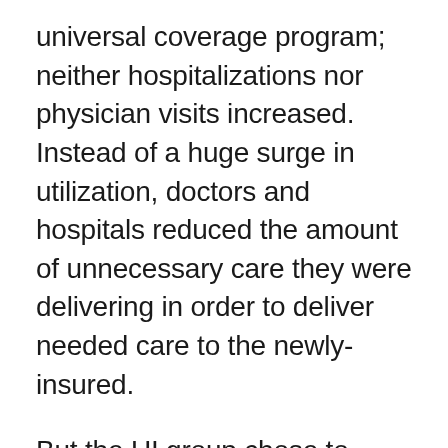universal coverage program; neither hospitalizations nor physician visits increased.  Instead of a huge surge in utilization, doctors and hospitals reduced the amount of unnecessary care they were delivering in order to deliver needed care to the newly-insured.
But the UI group chose to ignore the evidence from real world coverage expansions that the limited supply of health professionals and hospital beds constrain utilization increases. Instead, to support their assumption that supply